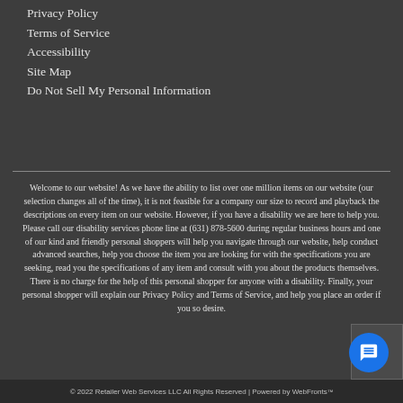Privacy Policy
Terms of Service
Accessibility
Site Map
Do Not Sell My Personal Information
Welcome to our website! As we have the ability to list over one million items on our website (our selection changes all of the time), it is not feasible for a company our size to record and playback the descriptions on every item on our website. However, if you have a disability we are here to help you. Please call our disability services phone line at (631) 878-5600 during regular business hours and one of our kind and friendly personal shoppers will help you navigate through our website, help conduct advanced searches, help you choose the item you are looking for with the specifications you are seeking, read you the specifications of any item and consult with you about the products themselves. There is no charge for the help of this personal shopper for anyone with a disability. Finally, your personal shopper will explain our Privacy Policy and Terms of Service, and help you place an order if you so desire.
© 2022 Retailer Web Services LLC All Rights Reserved | Powered by WebFronts™